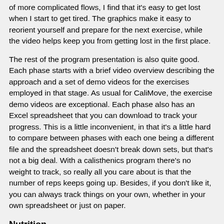of more complicated flows, I find that it's easy to get lost when I start to get tired.  The graphics make it easy to reorient yourself and prepare for the next exercise, while the video helps keep you from getting lost in the first place.
The rest of the program presentation is also quite good.  Each phase starts with a brief video overview describing the approach and a set of demo videos for the exercises employed in that stage.  As usual for CaliMove, the exercise demo videos are exceptional.  Each phase also has an Excel spreadsheet that you can download to track your progress.  This is a little inconvenient, in that it's a little hard to compare between phases with each one being a different file and the spreadsheet doesn't break down sets, but that's not a big deal.  With a calisthenics program there's no weight to track, so really all you care about is that the number of reps keeps going up.  Besides, if you don't like it, you can always track things on your own, whether in your own spreadsheet or just on paper.
Nutrition
I also purchased the "nutrition upgrade" with this program.  The base program is just the workouts - it doesn't come with any kind of nutrition information, or eating plan, or anything like that.  You can buy an "add-on" that provides some nutrition